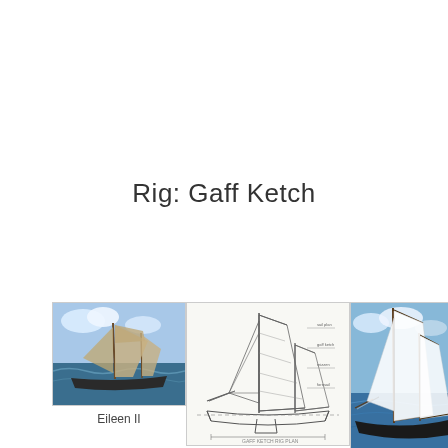Rig: Gaff Ketch
[Figure (photo): Photo of Eileen II, a gaff ketch sailboat racing on blue sea with tan sails]
Eileen II
[Figure (engineering-diagram): Line drawing / sail plan schematic of a gaff ketch showing rigging and sail layout]
Gaff Ketch
[Figure (photo): Photo of a classic gaff ketch under full white sail on blue sea]